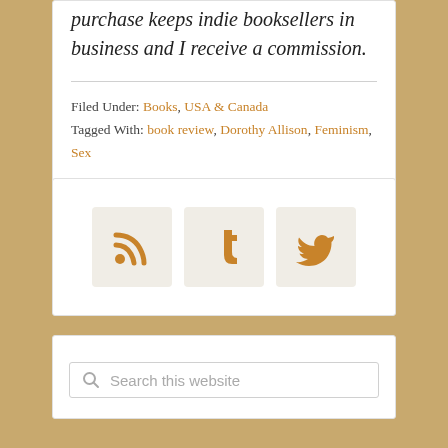purchase keeps indie booksellers in business and I receive a commission.
Filed Under: Books, USA & Canada
Tagged With: book review, Dorothy Allison, Feminism, Sex
[Figure (infographic): Three social media icon boxes with RSS, Tumblr, and Twitter icons in orange/gold color on light beige background]
Search this website